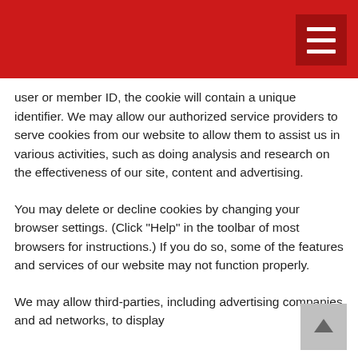user or member ID, the cookie will contain a unique identifier. We may allow our authorized service providers to serve cookies from our website to allow them to assist us in various activities, such as doing analysis and research on the effectiveness of our site, content and advertising.
You may delete or decline cookies by changing your browser settings. (Click "Help" in the toolbar of most browsers for instructions.) If you do so, some of the features and services of our website may not function properly.
We may allow third-parties, including advertising companies and ad networks, to display